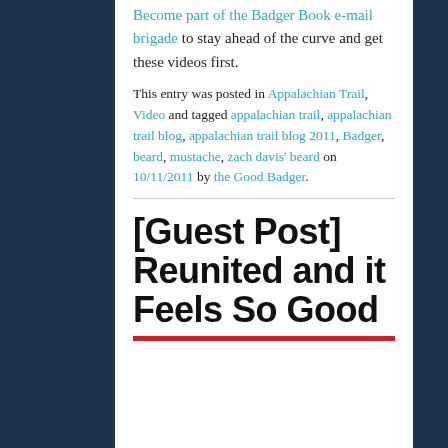Become part of the Badger Book e-mail brigade to stay ahead of the curve and get these videos first.
This entry was posted in Appalachian Trail, Video and tagged appalachian trail, appalachian trail blog, appalachian trail blog 2011, Badger, beard, mustache, zach davis' beard on 10/11/2011 by the Good Badger.
[Guest Post] Reunited and it Feels So Good